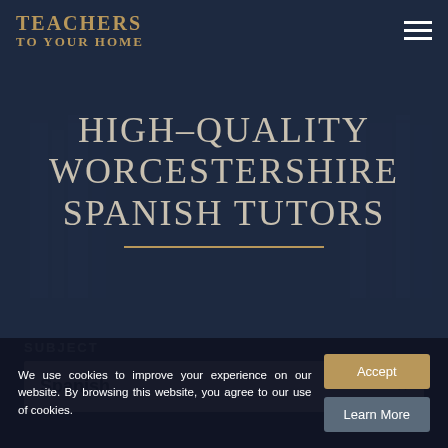TEACHERS TO YOUR HOME
HIGH-QUALITY WORCESTERSHIRE SPANISH TUTORS
SUBJECT
Spanish
We use cookies to improve your experience on our website. By browsing this website, you agree to our use of cookies.